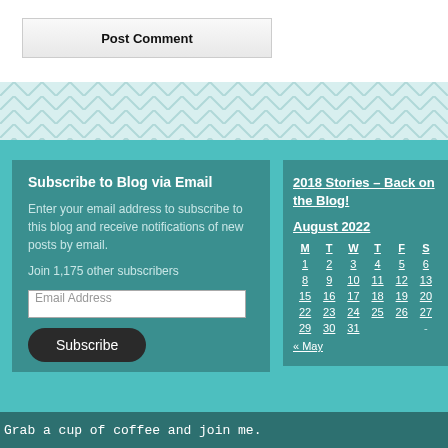Post Comment
[Figure (other): Zigzag/herringbone pattern divider in light teal]
Subscribe to Blog via Email
Enter your email address to subscribe to this blog and receive notifications of new posts by email.
Join 1,175 other subscribers
Email Address
Subscribe
2018 Stories – Back on the Blog!
| M | T | W | T | F | S |
| --- | --- | --- | --- | --- | --- |
| 1 | 2 | 3 | 4 | 5 | 6 |
| 8 | 9 | 10 | 11 | 12 | 13 |
| 15 | 16 | 17 | 18 | 19 | 20 |
| 22 | 23 | 24 | 25 | 26 | 27 |
| 29 | 30 | 31 |  |  | - |
« May
Grab a cup of coffee and join me.